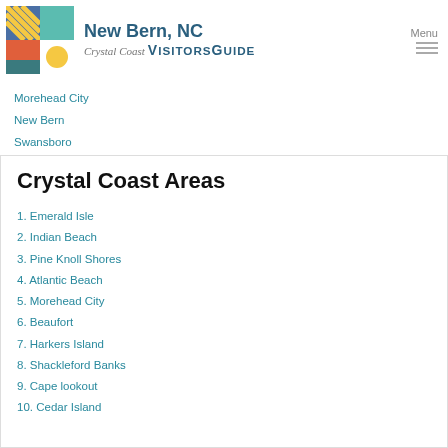New Bern, NC Crystal Coast VISITORS GUIDE  Menu
Morehead City
New Bern
Swansboro
Crystal Coast Areas
1. Emerald Isle
2. Indian Beach
3. Pine Knoll Shores
4. Atlantic Beach
5. Morehead City
6. Beaufort
7. Harkers Island
8. Shackleford Banks
9. Cape lookout
10. Cedar Island